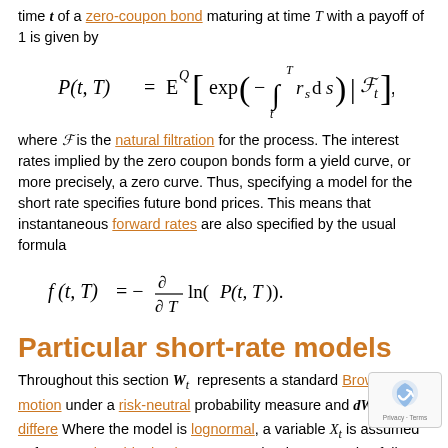time t of a zero-coupon bond maturing at time T with a payoff of 1 is given by
where F is the natural filtration for the process. The interest rates implied by the zero coupon bonds form a yield curve, or more precisely, a zero curve. Thus, specifying a model for the short rate specifies future bond prices. This means that instantaneous forward rates are also specified by the usual formula
Particular short-rate models
Throughout this section W_t represents a standard Brownian motion under a risk-neutral probability measure and dW_t its differential. Where the model is lognormal, a variable X_t is assumed to follow an Ornstein–Uhlenbeck process and r_t is assumed to follow r_t = exp X_t .